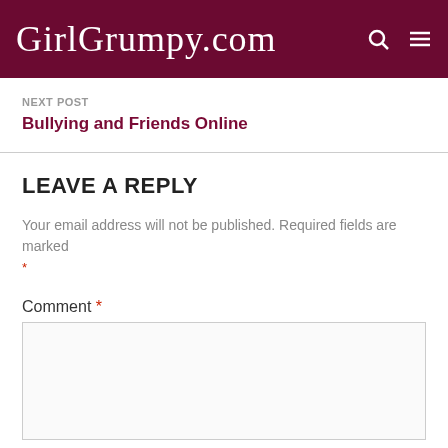GirlGrumpy.com
NEXT POST
Bullying and Friends Online
LEAVE A REPLY
Your email address will not be published. Required fields are marked *
Comment *